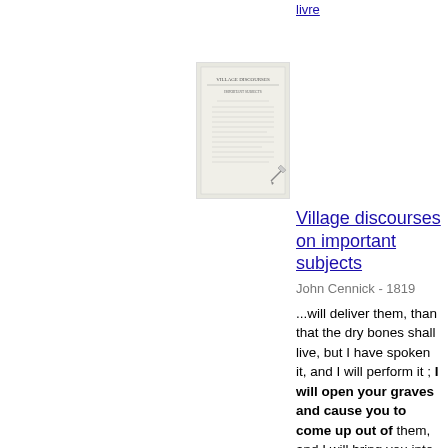livre
[Figure (photo): Thumbnail image of the book 'Village discourses on important subjects']
Village discourses on important subjects
John Cennick - 1819
...will deliver them, than that the dry bones shall live, but I have spoken it, and I will perform it ; I will open your graves and cause you to come up out of them, and I will bring you into the land of Israel ; then shall ye know that I am the Lord, svhen I...
Affichage du